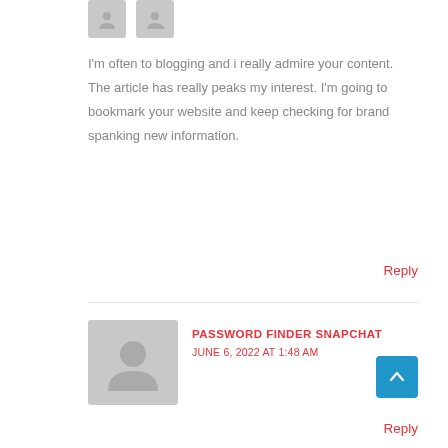[Figure (illustration): Two small gray avatar placeholder icons at the top]
I'm often to blogging and i really admire your content. The article has really peaks my interest. I'm going to bookmark your website and keep checking for brand spanking new information.
Reply
PASSWORD FINDER SNAPCHAT
JUNE 6, 2022 AT 1:48 AM
Thanks a bunch for sharing this with all of us you actually know what you're talking about! Bookmarked. Please also visit my site =). We could have a link exchange arrangement between us!
Reply